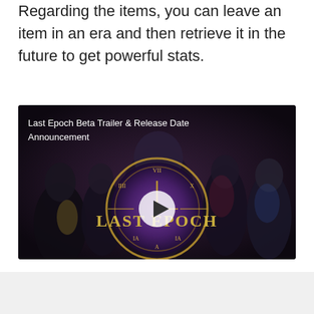Regarding the items, you can leave an item in an era and then retrieve it in the future to get powerful stats.
[Figure (screenshot): Video thumbnail for 'Last Epoch Beta Trailer & Release Date Announcement' showing fantasy game characters around a clock with LAST EPOCH logo, with a play button overlay.]
Last Epoch Beta Trailer & Release Date Announcement